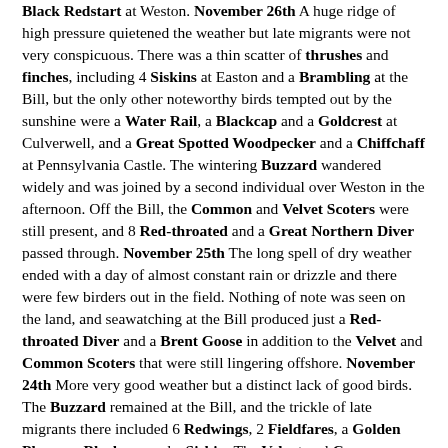Black Redstart at Weston. November 26th A huge ridge of high pressure quietened the weather but late migrants were not very conspicuous. There was a thin scatter of thrushes and finches, including 4 Siskins at Easton and a Brambling at the Bill, but the only other noteworthy birds tempted out by the sunshine were a Water Rail, a Blackcap and a Goldcrest at Culverwell, and a Great Spotted Woodpecker and a Chiffchaff at Pennsylvania Castle. The wintering Buzzard wandered widely and was joined by a second individual over Weston in the afternoon. Off the Bill, the Common and Velvet Scoters were still present, and 8 Red-throated and a Great Northern Diver passed through. November 25th The long spell of dry weather ended with a day of almost constant rain or drizzle and there were few birders out in the field. Nothing of note was seen on the land, and seawatching at the Bill produced just a Red-throated Diver and a Brent Goose in addition to the Velvet and Common Scoters that were still lingering offshore. November 24th More very good weather but a distinct lack of good birds. The Buzzard remained at the Bill, and the trickle of late migrants there included 6 Redwings, 2 Fieldfares, a Golden Plover, a Blackcap and a Siskin. The Velvet and Common Scoters were still off the East Cliffs at the Bill, and a lone Red-throated Diver passed by offshore. November 23rd A calm and sunny day that produced another flurry of late migrants. Finches were conspicuous, with plenty of new Chaffinches, Linnets, Greenfinches and Goldfinches as